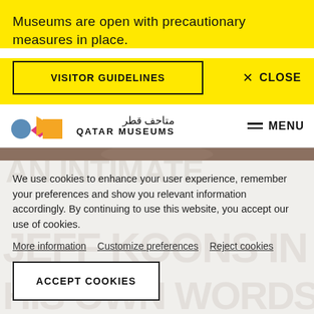Museums are open with precautionary measures in place.
VISITOR GUIDELINES
× CLOSE
[Figure (logo): Qatar Museums logo with geometric shapes (circle, triangle, diamond, square) in blue, pink, orange colors, with Arabic text and QATAR MUSEUMS wordmark]
MENU
We use cookies to enhance your user experience, remember your preferences and show you relevant information accordingly. By continuing to use this website, you accept our use of cookies.
More information   Customize preferences   Reject cookies
ACCEPT COOKIES